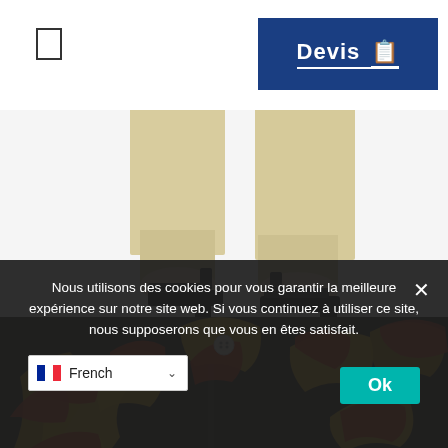[Figure (screenshot): Navigation bar with menu icon on left and blue Devis button on right]
[Figure (photo): Woman wearing beige wide-leg trousers and black high-heeled ankle-strap sandals, cropped at the legs]
[Figure (photo): Close-up of a dark floral fabric with orange and yellow tree/leaf pattern and white buttons]
Nous utilisons des cookies pour vous garantir la meilleure expérience sur notre site web. Si vous continuez à utiliser ce site, nous supposerons que vous en êtes satisfait.
[Figure (screenshot): Cookie consent banner with French language selector and Ok button]